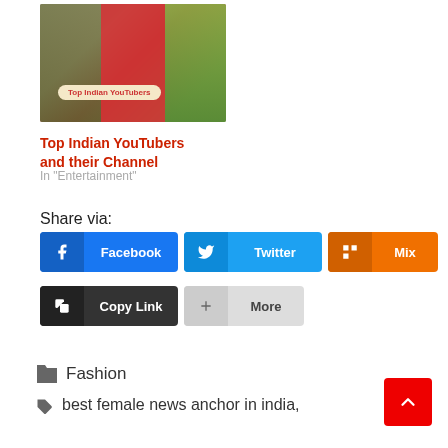[Figure (photo): Thumbnail image showing Top Indian YouTubers with text badge 'Top Indian YouTubers']
Top Indian YouTubers and their Channel
In "Entertainment"
Share via:
[Figure (screenshot): Share buttons row 1: Facebook, Twitter, Mix]
[Figure (screenshot): Share buttons row 2: Copy Link, More]
Fashion
best female news anchor in india,